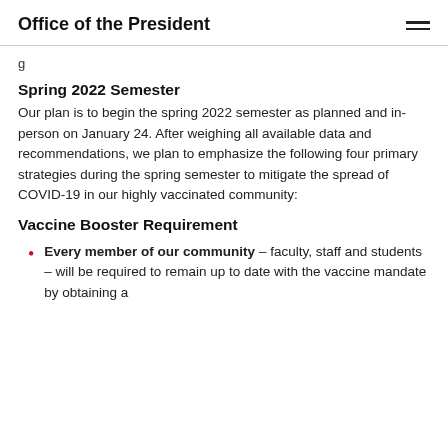Office of the President
g
Spring 2022 Semester
Our plan is to begin the spring 2022 semester as planned and in-person on January 24. After weighing all available data and recommendations, we plan to emphasize the following four primary strategies during the spring semester to mitigate the spread of COVID-19 in our highly vaccinated community:
Vaccine Booster Requirement
Every member of our community – faculty, staff and students – will be required to remain up to date with the vaccine mandate by obtaining a